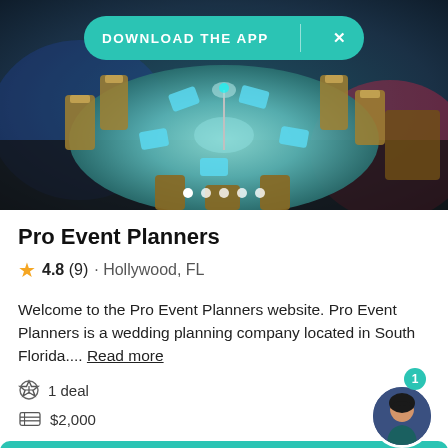[Figure (photo): Event venue photo showing a round table with teal tablecloth, elegant place settings, gold chiavari chairs, and purple/red ambient lighting. A teal 'Download the App' banner overlay appears at the top with an X close button. Navigation dots appear at the bottom of the photo.]
Pro Event Planners
4.8 (9) · Hollywood, FL
Welcome to the Pro Event Planners website. Pro Event Planners is a wedding planning company located in South Florida.... Read more
1 deal
$2,000
Request pricing